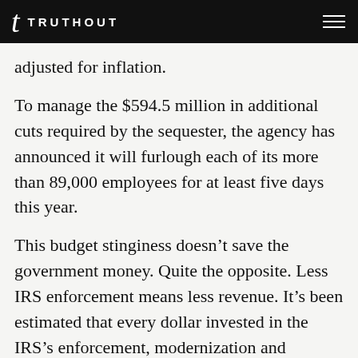TRUTHOUT
adjusted for inflation.
To manage the $594.5 million in additional cuts required by the sequester, the agency has announced it will furlough each of its more than 89,000 employees for at least five days this year.
This budget stinginess doesn’t save the government money. Quite the opposite. Less IRS enforcement means less revenue. It’s been estimated that every dollar invested in the IRS’s enforcement, modernization and management system reduces the federal budget deficit by